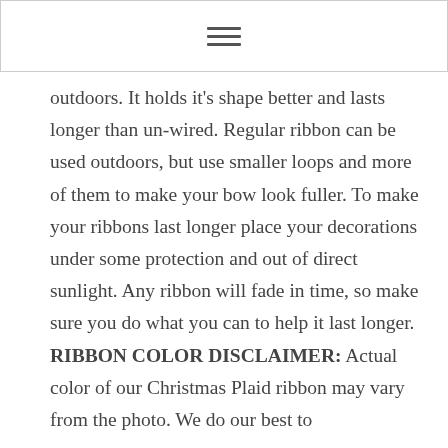≡
outdoors. It holds it's shape better and lasts longer than un-wired. Regular ribbon can be used outdoors, but use smaller loops and more of them to make your bow look fuller. To make your ribbons last longer place your decorations under some protection and out of direct sunlight. Any ribbon will fade in time, so make sure you do what you can to help it last longer.
RIBBON COLOR DISCLAIMER: Actual color of our Christmas Plaid ribbon may vary from the photo. We do our best to